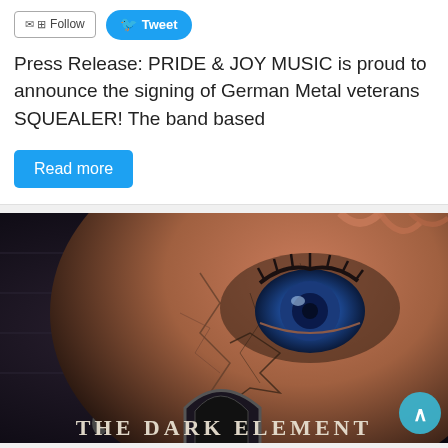Press Release: PRIDE & JOY MUSIC is proud to announce the signing of German Metal veterans SQUEALER! The band based
Read more
[Figure (illustration): Album cover art for 'The Dark Element' — close-up of a cracked stone face with a vivid blue eye, set against a dark gothic background with a hanging pendulum. Title text 'THE DARK ELEMENT' appears at the bottom in stone-carved lettering.]